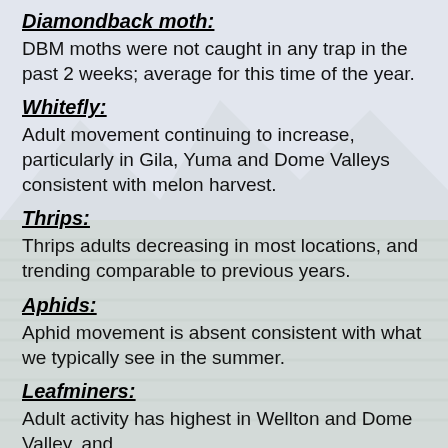Diamondback moth:
DBM moths were not caught in any trap in the past 2 weeks; average for this time of the year.
Whitefly:
Adult movement continuing to increase, particularly in Gila, Yuma and Dome Valleys consistent with melon harvest.
Thrips:
Thrips adults decreasing in most locations, and trending comparable to previous years.
Aphids:
Aphid movement is absent consistent with what we typically see in the summer.
Leafminers:
Adult activity has highest in Wellton and Dome Valley, and